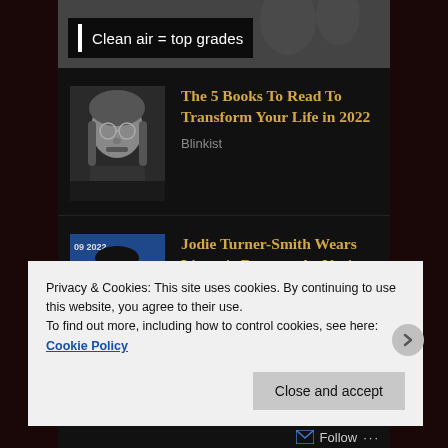Clean air = top grades
[Figure (photo): Man with glasses and long hair, black and white portrait photo]
The 5 Books To Read To Transform Your Life in 2022
Blinkist
[Figure (photo): Woman at Venice Film Festival event with sunglasses, 09 2022 sign visible]
Jodie Turner-Smith Wears Lingerie Dress at the Venice Film Festival
Privacy & Cookies: This site uses cookies. By continuing to use this website, you agree to their use.
To find out more, including how to control cookies, see here: Cookie Policy
Close and accept
Follow